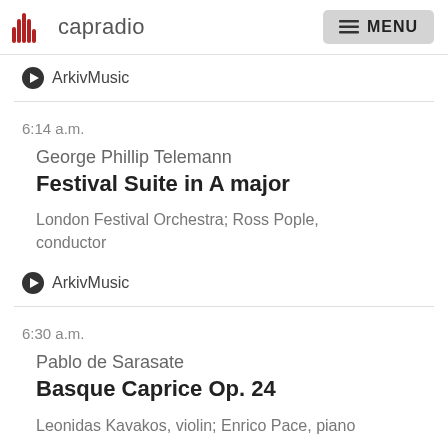capradio | MENU
ArkivMusic
6:14 a.m.
George Phillip Telemann
Festival Suite in A major
London Festival Orchestra; Ross Pople, conductor
ArkivMusic
6:30 a.m.
Pablo de Sarasate
Basque Caprice Op. 24
Leonidas Kavakos, violin; Enrico Pace, piano